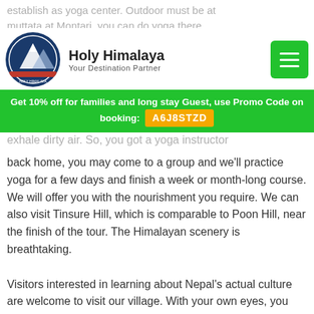establish as yoga center. Outdoor must do at muttata at Montari, you can do yoga there. The end of Montari, we can practice yoga. We
Holy Himalaya — Your Destination Partner
Get 10% off for families and long stay Guest, use Promo Code on booking: A6J8STZD
exhale dirty air. So, you do a yoga instructor back home, you may come to a group and we'll practice yoga for a few days and finish a week or month-long course. We will offer you with the nourishment you require. We can also visit Tinsure Hill, which is comparable to Poon Hill, near the finish of the tour. The Himalayan scenery is breathtaking.
Visitors interested in learning about Nepal's actual culture are welcome to visit our village. With your own eyes, you can observe villagers' day-to-day activities. Volunteering in a government school or hospital is highly encouraged. We may share